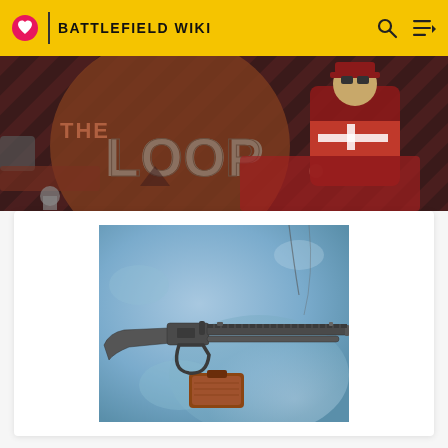BATTLEFIELD WIKI
[Figure (illustration): THE LOOP banner with cartoon characters on striped dark red background]
[Figure (photo): A lever-action rifle with picatinny rail displayed on a wooden stand against a blue mottled background]